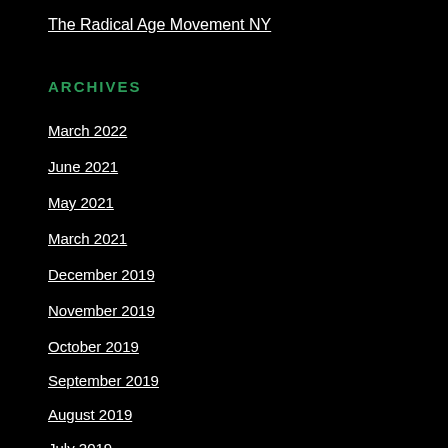The Radical Age Movement NY
ARCHIVES
March 2022
June 2021
May 2021
March 2021
December 2019
November 2019
October 2019
September 2019
August 2019
July 2019
June 2019